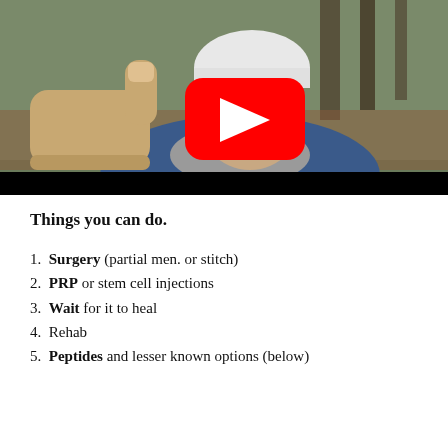[Figure (screenshot): YouTube video thumbnail showing a man wearing a grey beanie hat and grey scarf, giving a thumbs up gesture, outdoors in a wooded area. A red YouTube play button is overlaid in the center of the image. The bottom of the thumbnail has a black control bar.]
Things you can do.
Surgery (partial men. or stitch)
PRP or stem cell injections
Wait for it to heal
Rehab
Peptides and lesser known options (below)